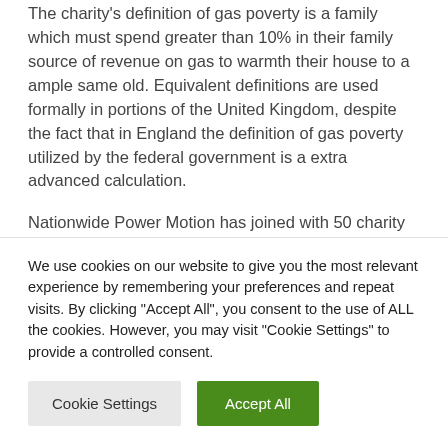The charity's definition of gas poverty is a family which must spend greater than 10% in their family source of revenue on gas to warmth their house to a ample same old. Equivalent definitions are used formally in portions of the United Kingdom, despite the fact that in England the definition of gas poverty utilized by the federal government is a extra advanced calculation.
Nationwide Power Motion has joined with 50 charity and marketing campaign teams to name for reinforce from the federal government for financially stretched bill-payers...
We use cookies on our website to give you the most relevant experience by remembering your preferences and repeat visits. By clicking "Accept All", you consent to the use of ALL the cookies. However, you may visit "Cookie Settings" to provide a controlled consent.